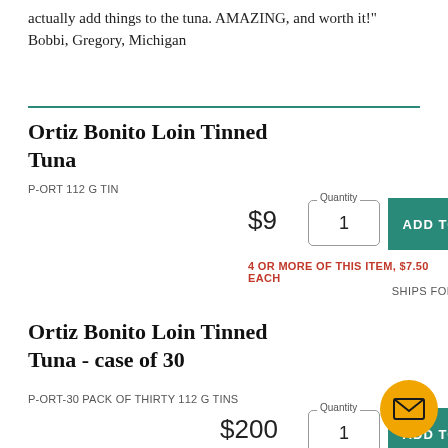actually add things to the tuna. AMAZING, and worth it!"
Bobbi, Gregory, Michigan
Ortiz Bonito Loin Tinned Tuna
P-ORT 112 G TIN
$9
Quantity 1
ADD TO CART
4 OR MORE OF THIS ITEM, $7.50 EACH
SHIPS FOR FLAT RATE
Ortiz Bonito Loin Tinned Tuna - case of 30
P-ORT-30 PACK OF THIRTY 112 G TINS
$200
Quantity 1
ADD TO CART
SHIPS FOR FLAT RATE